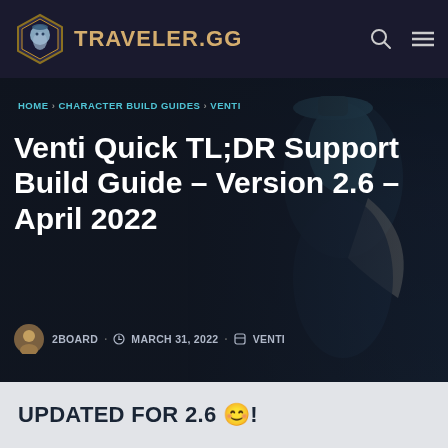TRAVELER.GG
HOME > CHARACTER BUILD GUIDES > VENTI
Venti Quick TL;DR Support Build Guide – Version 2.6 – April 2022
2BOARD · MARCH 31, 2022 · VENTI
UPDATED FOR 2.6 😊!